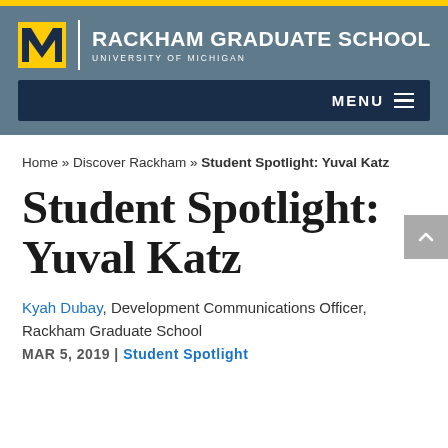[Figure (logo): Rackham Graduate School, University of Michigan logo with yellow M block letter on blue-grey header background]
MENU
Home » Discover Rackham » Student Spotlight: Yuval Katz
Student Spotlight: Yuval Katz
Kyah Dubay, Development Communications Officer, Rackham Graduate School
MAR 5, 2019 | Student Spotlight